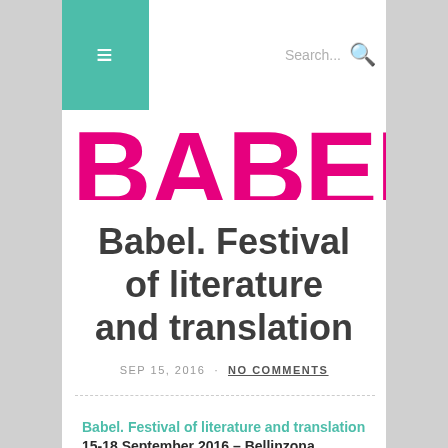≡  Search...
[Figure (logo): Partially visible pink/magenta large bold logo text reading 'BABEL' cropped at top]
Babel. Festival of literature and translation
SEP 15, 2016 · NO COMMENTS
Babel. Festival of literature and translation
15-18 September 2016 – Bellinzona,